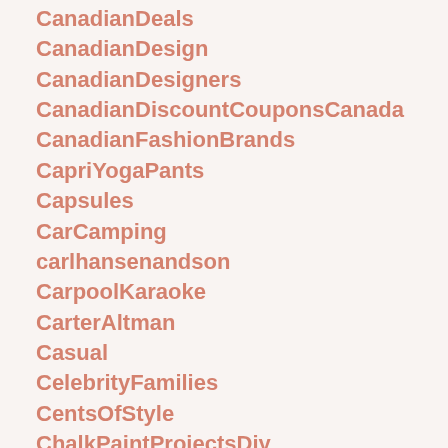CanadianDeals
CanadianDesign
CanadianDesigners
CanadianDiscountCouponsCanada
CanadianFashionBrands
CapriYogaPants
Capsules
CarCamping
carlhansenandson
CarpoolKaraoke
CarterAltman
Casual
CelebrityFamilies
CentsOfStyle
ChalkPaintProjectsDiy